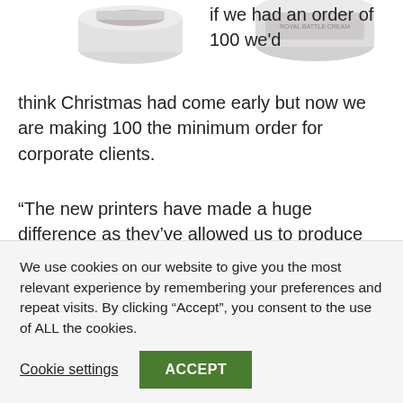[Figure (photo): Two product images of small cylindrical containers/cans at the top of the page]
if we had an order of 100 we'd think Christmas had come early but now we are making 100 the minimum order for corporate clients.
“The new printers have made a huge difference as they’ve allowed us to produce the volume we need. We can still do the individual orders as well which gives us an advantage over other companies who tend to offer one or the other, not both.”
Velocity Growth Hub and its qualified and
We use cookies on our website to give you the most relevant experience by remembering your preferences and repeat visits. By clicking “Accept”, you consent to the use of ALL the cookies.
Cookie settings
ACCEPT